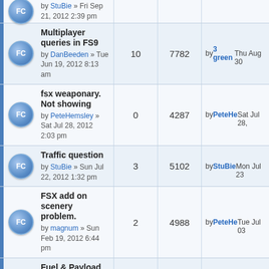by StuBie » Fri Sep 21, 2012 2:39 pm | replies: (cut off) | views: (cut off) | last: (cut off)
Multiplayer queries in FS9 by DanBeeden » Tue Jun 19, 2012 8:13 am | replies: 10 | views: 7782 | last: by 3 green Thu Aug 30
fsx weaponary. Not showing by PeteHemsley » Sat Jul 28, 2012 2:03 pm | replies: 0 | views: 4287 | last: by PeteHe Sat Jul 28,
Traffic question by StuBie » Sun Jul 22, 2012 1:32 pm | replies: 3 | views: 5102 | last: by StuBie Mon Jul 23
FSX add on scenery problem. by magnum » Sun Feb 19, 2012 6:44 pm | replies: 2 | views: 4988 | last: by PeteHe Tue Jul 03
Fuel & Payload in FSX by lowlevelRAF » Tue Jun 12, 2012 12:09 pm | replies: 0 | views: 4235 | last: by lowleve Tue Jun 12
CS C-130 Para-Dropping? by LightningGoose » Wed Jan 11, 2012 3:58 pm | replies: 5 | views: 6092 | last: by RichC Mon Jun 1
Graphics card funny turn? | replies: 6 | views: 6369 | last: by DanBee Fri Feb 17